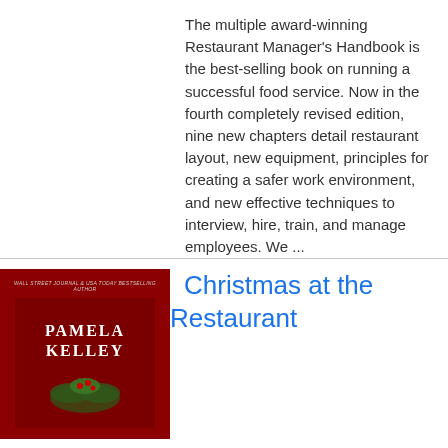The multiple award-winning Restaurant Manager's Handbook is the best-selling book on running a successful food service. Now in the fourth completely revised edition, nine new chapters detail restaurant layout, new equipment, principles for creating a safer work environment, and new effective techniques to interview, hire, train, and manage employees. We ...
[Figure (photo): Book cover with dark red background showing author name PAMELA KELLEY in white bold text, with small text at top indicating Wall Street Journal & USA Today Bestselling Author, and decorative botanical illustration]
Christmas at the Restaurant